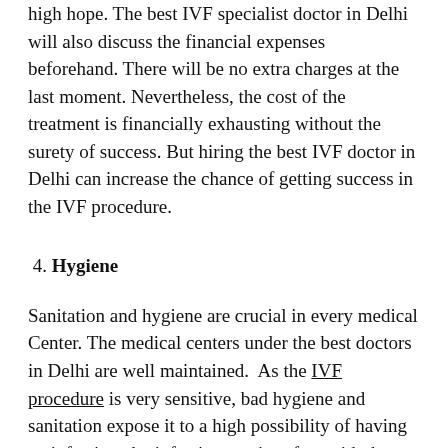high hope. The best IVF specialist doctor in Delhi will also discuss the financial expenses beforehand. There will be no extra charges at the last moment. Nevertheless, the cost of the treatment is financially exhausting without the surety of success. But hiring the best IVF doctor in Delhi can increase the chance of getting success in the IVF procedure.
4. Hygiene
Sanitation and hygiene are crucial in every medical Center. The medical centers under the best doctors in Delhi are well maintained.  As the IVF procedure is very sensitive, bad hygiene and sanitation expose it to a high possibility of having an infection. An infection can interfere with the whole process and deplete its chance of having success.
It is extremely essential for the couple to not rush